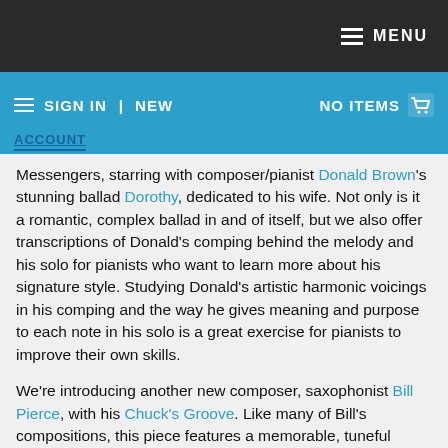MENU
SIGN IN | NEW  NO ITEMS ACCOUNT
Messengers, starring with composer/pianist Donald Brown's stunning ballad Dorothy, dedicated to his wife. Not only is it a romantic, complex ballad in and of itself, but we also offer transcriptions of Donald's comping behind the melody and his solo for pianists who want to learn more about his signature style. Studying Donald's artistic harmonic voicings in his comping and the way he gives meaning and purpose to each note in his solo is a great exercise for pianists to improve their own skills.
We're introducing another new composer, saxophonist Bill Pierce, with his Chuck's Groove. Like many of Bill's compositions, this piece features a memorable, tuneful melody and sets it over an unusual chord progression. It's a